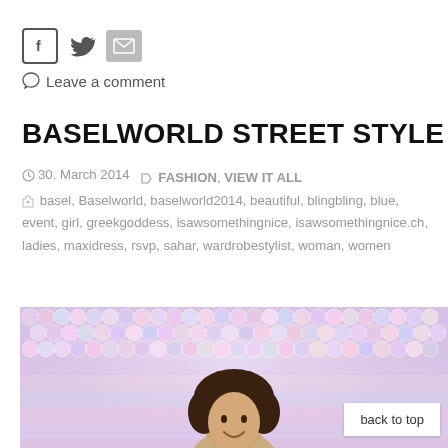[Figure (illustration): Social media sharing icons: Facebook (square with f), Twitter (bird), Email (envelope)]
💬 Leave a comment
BASELWORLD STREET STYLE
30. March 2014   FASHION, VIEW IT ALL   basel, Baselworld, baselworld2014, beautiful, blingbling, blue, event, girl, greekgoddess, isawsomethingnice, isawsomethingnice.ch, ladies, maxidress, rsvp, sahar, wardrobestylist, woman, women
[Figure (photo): Woman with curly brown hair smiling in front of a sparkly pink/silver sequined/bead background. White box in lower right with 'back to top' text.]